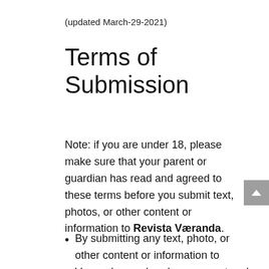(updated March-29-2021)
Terms of Submission
Note: if you are under 18, please make sure that your parent or guardian has read and agreed to these terms before you submit text, photos, or other content or information to Revista Væranda.
By submitting any text, photo, or other content or information to Væranda, you hereby represent and